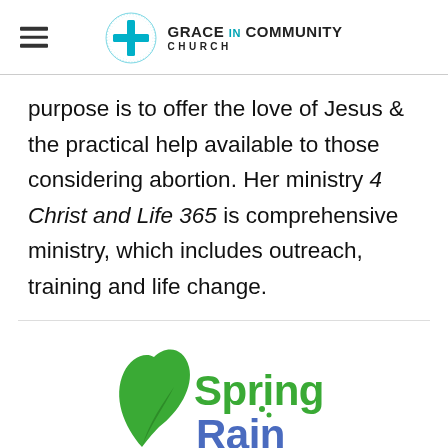Grace In Community Church
purpose is to offer the love of Jesus & the practical help available to those considering abortion. Her ministry 4 Christ and Life 365 is comprehensive ministry, which includes outreach, training and life change.
[Figure (logo): Spring Rain ministry logo with green leaf swirl and blue/green text]